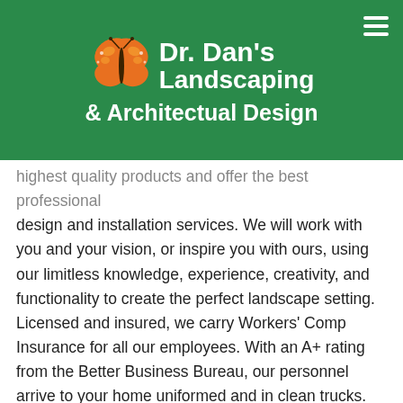Dr. Dan's Landscaping & Architectual Design
highest quality products and offer the best professional design and installation services. We will work with you and your vision, or inspire you with ours, using our limitless knowledge, experience, creativity, and functionality to create the perfect landscape setting. Licensed and insured, we carry Workers' Comp Insurance for all our employees. With an A+ rating from the Better Business Bureau, our personnel arrive to your home uniformed and in clean trucks. Providing the same level of service for over 30 years, all our jobs are Owner/Manager supervised to ensure complete satisfaction before, during and after job completion.
OUR MISSION: